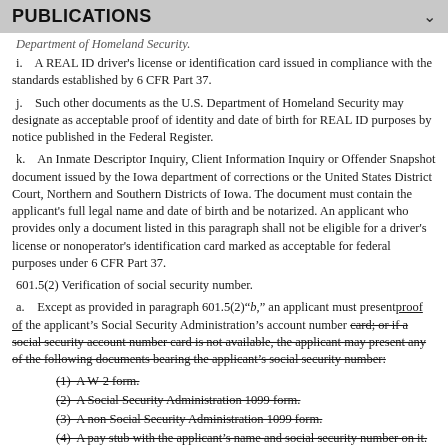PUBLICATIONS
Department of Homeland Security.
i.    A REAL ID driver's license or identification card issued in compliance with the standards established by 6 CFR Part 37.
j.    Such other documents as the U.S. Department of Homeland Security may designate as acceptable proof of identity and date of birth for REAL ID purposes by notice published in the Federal Register.
k.    An Inmate Descriptor Inquiry, Client Information Inquiry or Offender Snapshot document issued by the Iowa department of corrections or the United States District Court, Northern and Southern Districts of Iowa. The document must contain the applicant's full legal name and date of birth and be notarized. An applicant who provides only a document listed in this paragraph shall not be eligible for a driver's license or nonoperator's identification card marked as acceptable for federal purposes under 6 CFR Part 37.
601.5(2) Verification of social security number.
a.    Except as provided in paragraph 601.5(2)“b,” an applicant must present proof of the applicant’s Social Security Administration’s account number [strikethrough: card; or if a social security account number card is not available, the applicant may present any of the following documents bearing the applicant’s social security number:].
(1)  A W-2 form. [strikethrough]
(2)  A Social Security Administration 1099 form. [strikethrough]
(3)  A non Social Security Administration 1099 form. [strikethrough]
(4)  A pay stub with the applicant’s name and social security number on it. [strikethrough]
(5)  An Internal Revenue Service Form 1095-A, 1095-B or 1095-C. [strikethrough]